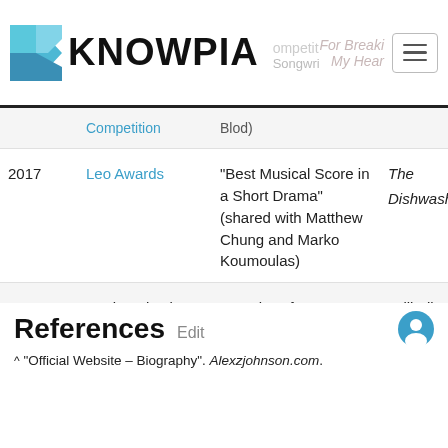KNOWPIA
| Year | Award | Category | Work |
| --- | --- | --- | --- |
|  | Competition | Blod) |
| 2017 | Leo Awards | "Best Musical Score in a Short Drama" (shared with Matthew Chung and Marko Koumoulas) | The Dishwasher[70] |
| 2020 | UnsignedOnly Music Competition | "Vocal Performance" | Still Alive |
References Edit
^ "Official Website – Biography". Alexzjohnson.com.